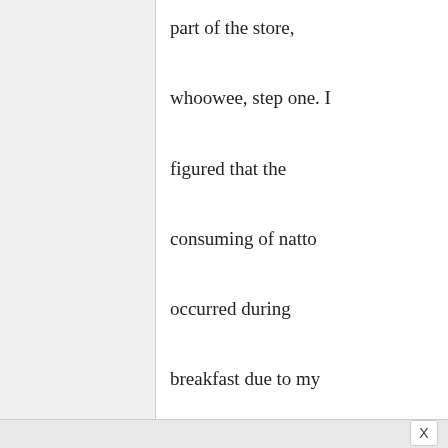part of the store, whoowee, step one. I figured that the consuming of natto occurred during breakfast due to my extensive watching of "slice of life" anime. Great, steeling myself I open the prepackaged tub and found a little packet of mustard and